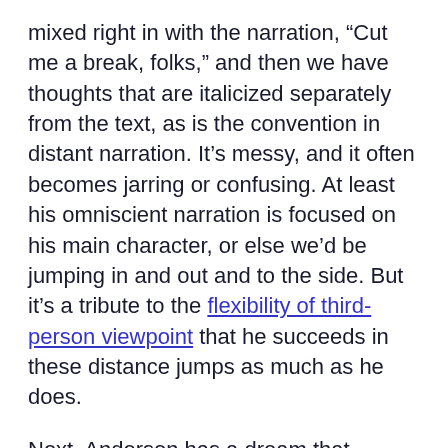mixed right in with the narration, “Cut me a break, folks,” and then we have thoughts that are italicized separately from the text, as is the convention in distant narration. It’s messy, and it often becomes jarring or confusing. At least his omniscient narration is focused on his main character, or else we’d be jumping in and out and to the side. But it’s a tribute to the flexibility of third-person viewpoint that he succeeds in these distance jumps as much as he does.
Next, Anderson has a dream that thankfully avoids talk of psychic vibrations. And instead of trying to trick the audience, Stufu states right out that it’s a dream. This means it won’t feel scary or urgent, but it’s still effective as foreshadowing.